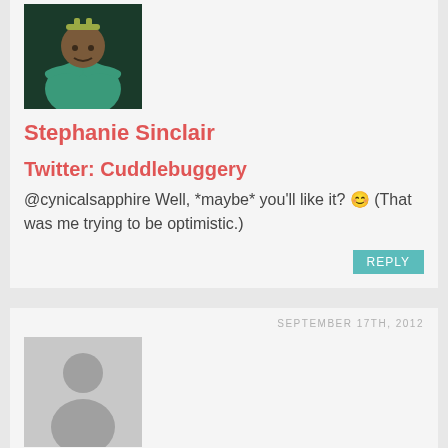[Figure (photo): Avatar image of Stephanie Sinclair showing an animated character with arms crossed]
Stephanie Sinclair
Twitter: Cuddlebuggery
@cynicalsapphire Well, *maybe* you'll like it? 😊 (That was me trying to be optimistic.)
REPLY
SEPTEMBER 17TH, 2012
[Figure (photo): Generic gray avatar placeholder with person silhouette]
cynicalsapphire
@Stephanie Sinclair I rather doubt it knowing me. Oh well, I guess I'll get to hate read and break out the gifs!
REPLY
SEPTEMBER 17TH, 2012
[Figure (photo): Partial avatar image at bottom of page]